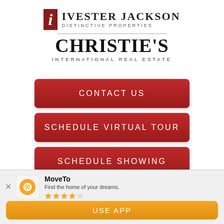[Figure (logo): Ivester Jackson Distinctive Properties / Christie's International Real Estate combined logo]
CONTACT US
SCHEDULE VIRTUAL TOUR
SCHEDULE SHOWING
MoveTo
Find the home of your dreams.
★★★★☆
USE APP